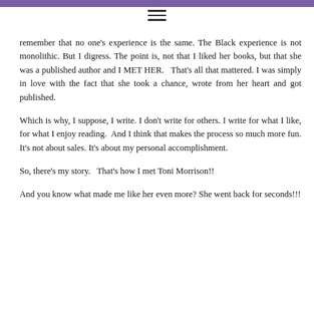≡
remember that no one's experience is the same. The Black experience is not monolithic. But I digress. The point is, not that I liked her books, but that she was a published author and I MET HER. That's all that mattered. I was simply in love with the fact that she took a chance, wrote from her heart and got published.
Which is why, I suppose, I write. I don't write for others. I write for what I like, for what I enjoy reading. And I think that makes the process so much more fun. It's not about sales. It's about my personal accomplishment.
So, there's my story. That's how I met Toni Morrison!!
And you know what made me like her even more? She went back for seconds!!!